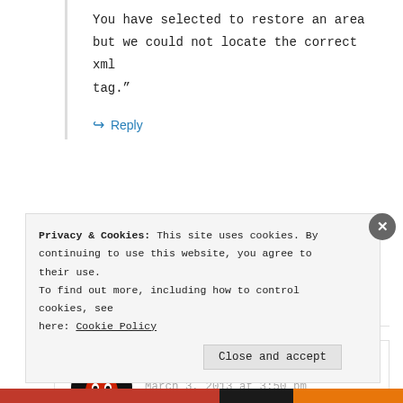You have selected to restore an area but we could not locate the correct xml tag.”
↪ Reply
DaReaLDeviL
March 3, 2013 at 3:50 pm
Privacy & Cookies: This site uses cookies. By continuing to use this website, you agree to their use. To find out more, including how to control cookies, see here: Cookie Policy
Close and accept